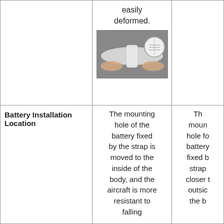[Figure (photo): Hands assembling a white foam RC aircraft wing, with a circular inset closeup of the wing joint area. Background is gray.]
easily deformed.
Battery Installation Location
The mounting hole of the battery fixed by the strap is moved to the inside of the body, and the aircraft is more resistant to falling
Th moun hole fo battery fixed b strap closer t outsic the b